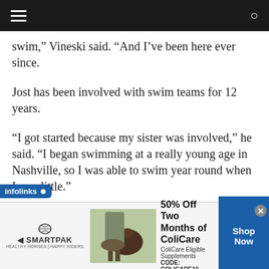[Navigation bar with hamburger menu and search icon]
swim,” Vineski said. “And I’ve been here ever since.
Jost has been involved with swim teams for 12 years.
“I got started because my sister was involved,” he said. “I began swimming at a really young age in Nashville, so I was able to swim year round when I was little.”
Starting at such an early age isn’t unusual, but continuing their participation this long is somewhat
[Figure (screenshot): infolinks advertisement bar at bottom of content area]
[Figure (screenshot): SmartPak advertisement banner showing 50% Off Two Months of ColiCare, ColiCare Eligible Supplements, CODE: COLICARE10 with Shop Now button]